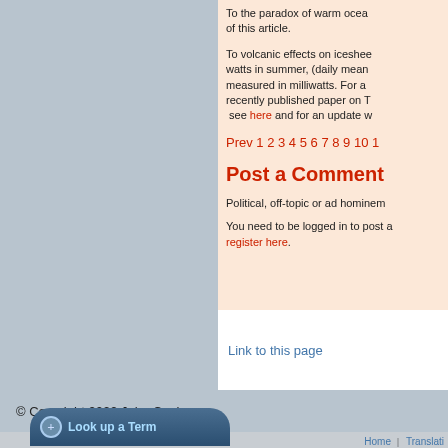To the paradox of warm ocea... of this article.
To volcanic effects on icesheet... watts in summer, (daily mean... measured in milliwatts. For a... recently published paper on T... see here and for an update w...
Prev 1 2 3 4 5 6 7 8 9 10 1...
Post a Comment
Political, off-topic or ad hominem...
You need to be logged in to post a... register here.
Link to this page
© Copyright 2022 John Cook
Home | Translati...
Look up a Term